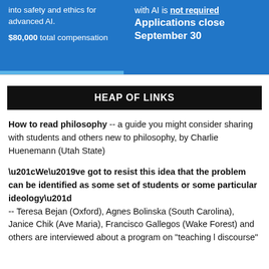[Figure (other): Blue banner advertisement with text about safety and ethics for advanced AI, $80,000 total compensation, prior experience with AI is not required, applications close September 30]
HEAP OF LINKS
How to read philosophy -- a guide you might consider sharing with students and others new to philosophy, by Charlie Huenemann (Utah State)
“We’ve got to resist this idea that the problem can be identified as some set of students or some particular ideology” -- Teresa Bejan (Oxford), Agnes Bolinska (South Carolina), Janice Chik (Ave Maria), Francisco Gallegos (Wake Forest) and others are interviewed about a program on "teaching l discourse"